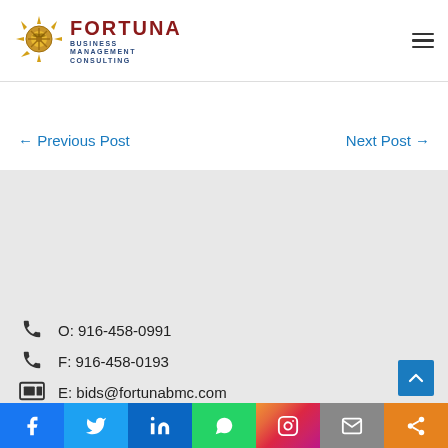FORTUNA BUSINESS MANAGEMENT CONSULTING
← Previous Post
Next Post →
O: 916-458-0991
F: 916-458-0193
E: bids@fortunabmc.com
3140 Peacekeeper Way, #101, McClellan, CA 95652
Facebook Twitter LinkedIn WhatsApp Instagram Email Share